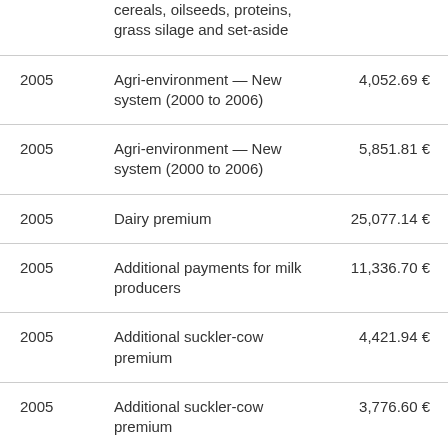| Year | Description | Amount |
| --- | --- | --- |
|  | cereals, oilseeds, proteins, grass silage and set-aside |  |
| 2005 | Agri-environment — New system (2000 to 2006) | 4,052.69 € |
| 2005 | Agri-environment — New system (2000 to 2006) | 5,851.81 € |
| 2005 | Dairy premium | 25,077.14 € |
| 2005 | Additional payments for milk producers | 11,336.70 € |
| 2005 | Additional suckler-cow premium | 4,421.94 € |
| 2005 | Additional suckler-cow premium | 3,776.60 € |